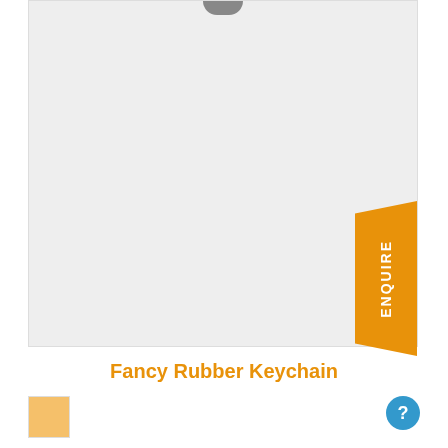[Figure (photo): Product image area showing a fancy rubber keychain with a metal ring at the top, displayed on a light gray background. An orange enquire badge appears on the right side.]
Fancy Rubber Keychain
[Figure (photo): Small thumbnail image at the bottom left, partially visible, showing an orange/yellow color.]